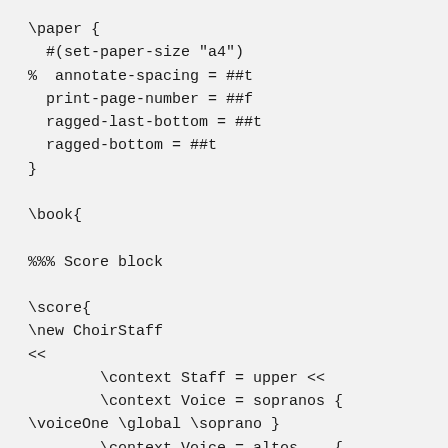\paper {
  #(set-paper-size "a4")
%  annotate-spacing = ##t
  print-page-number = ##f
  ragged-last-bottom = ##t
  ragged-bottom = ##t
}

\book{

%%% Score block

\score{
\new ChoirStaff
<<
        \context Staff = upper <<
        \context Voice = sopranos {
\voiceOne \global \soprano }
        \context Voice = altos    {